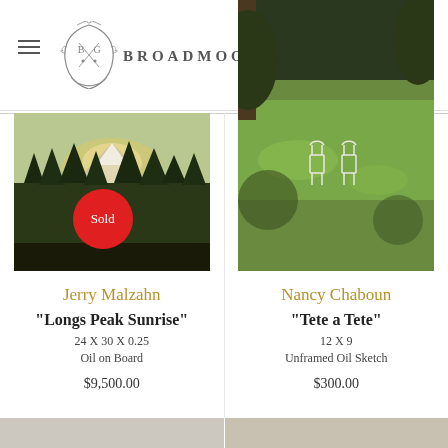[Figure (logo): Broadmoor Galleries ornate crest emblem with B and G letters]
Broadmoor Galleries
[Figure (photo): Painting of mountain sunrise with pine trees, Sold badge overlay - Jerry Malzahn Longs Peak Sunrise]
Jerry Malzahn
"Longs Peak Sunrise"
24 X 30 X 0.25
Oil on Board
$9,500.00
[Figure (photo): Oil sketch of garden with white chairs on green grass - Nancy Chaboun Tete a Tete]
Nancy Chaboun
"Tete a Tete"
12 X 9
Unframed Oil Sketch
$300.00